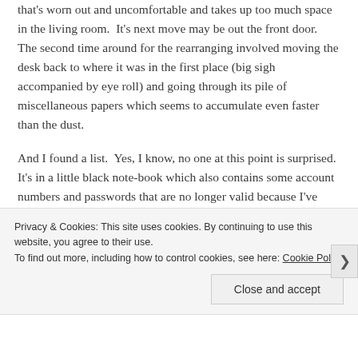that's worn out and uncomfortable and takes up too much space in the living room.  It's next move may be out the front door.  The second time around for the rearranging involved moving the desk back to where it was in the first place (big sigh accompanied by eye roll) and going through its pile of miscellaneous papers which seems to accumulate even faster than the dust.
And I found a list.  Yes, I know, no one at this point is surprised.  It's in a little black note-book which also contains some account numbers and passwords that are no longer valid because I've changed them.  This is exactly the kind of thing you don't want to leave behind after you die, unless there are people you need
Privacy & Cookies: This site uses cookies. By continuing to use this website, you agree to their use.
To find out more, including how to control cookies, see here: Cookie Policy
Close and accept